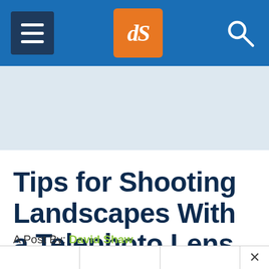dPS navigation header with hamburger menu, dPS logo, and search icon
[Figure (other): Light blue advertisement/banner placeholder area]
Tips for Shooting Landscapes With a Telephoto Lens
A Post By: David Shaw